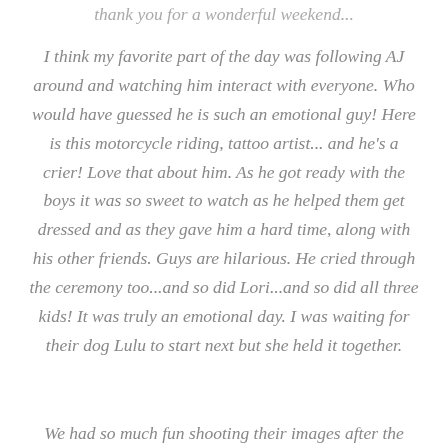...thank you for a wonderful weekend...
I think my favorite part of the day was following AJ around and watching him interact with everyone. Who would have guessed he is such an emotional guy! Here is this motorcycle riding, tattoo artist... and he's a crier! Love that about him. As he got ready with the boys it was so sweet to watch as he helped them get dressed and as they gave him a hard time, along with his other friends. Guys are hilarious. He cried through the ceremony too...and so did Lori...and so did all three kids! It was truly an emotional day. I was waiting for their dog Lulu to start next but she held it together.
We had so much fun shooting their images after the